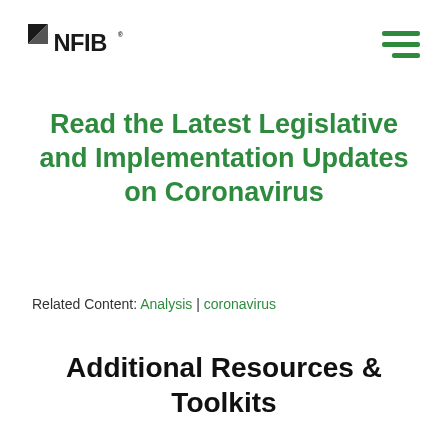NFIB logo and navigation menu
Read the Latest Legislative and Implementation Updates on Coronavirus
Related Content: Analysis | coronavirus
Additional Resources & Toolkits